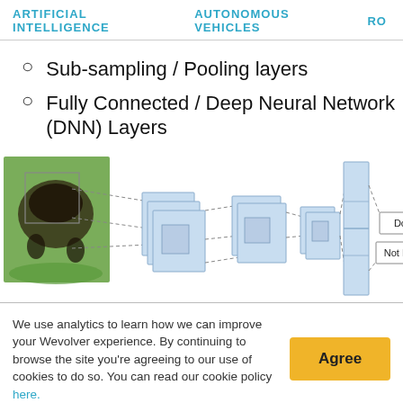ARTIFICIAL INTELLIGENCE   AUTONOMOUS VEHICLES   RO...
Sub-sampling / Pooling layers
Fully Connected / Deep Neural Network (DNN) Layers
[Figure (illustration): Neural network diagram showing a dog image being processed through convolutional layers (stacked blue rectangles), then a tall column representing fully connected layers, branching to outputs labeled 'Dog' and 'Not Dog'. Dashed lines connect input image to layers and output.]
We use analytics to learn how we can improve your Wevolver experience. By continuing to browse the site you're agreeing to our use of cookies to do so. You can read our cookie policy here.